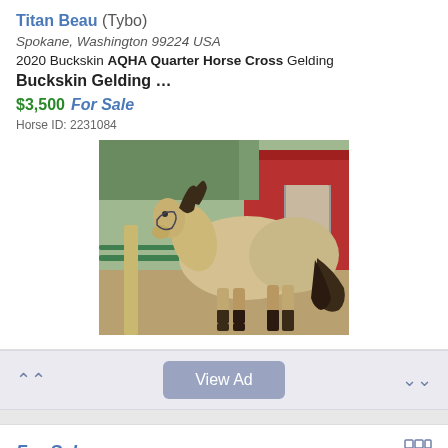Titan Beau (Tybo)
Spokane, Washington 99224 USA
2020 Buckskin AQHA Quarter Horse Cross Gelding
Buckskin Gelding …
$3,500  For Sale
Horse ID: 2231084
[Figure (photo): A buckskin gelding horse standing in a dirt pen with a red barn/shed in the background and green metal fence panels. The horse has a dark mane and tail.]
View Ad
For Sale